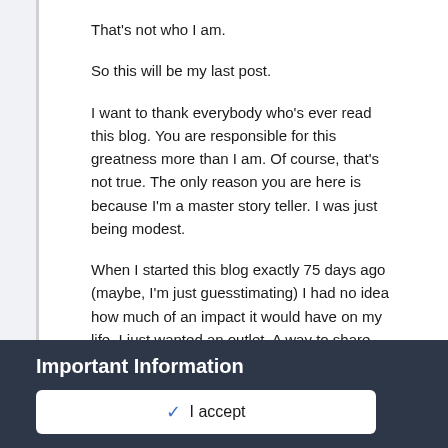That's not who I am.
So this will be my last post.
I want to thank everybody who's ever read this blog. You are responsible for this greatness more than I am. Of course, that's not true. The only reason you are here is because I'm a master story teller. I was just being modest.
When I started this blog exactly 75 days ago (maybe, I'm just guesstimating) I had no idea how much of an impact it would have on my life. I just wanted an outlet. A way to share with the world my hilarious, well-articulated thoughts. I realized during the live blog last night that it has become so much more than that. I'm now not just a future hall of fame quarterback, but a future hall of fame author/entertainer as well.
Important Information
✓  I accept